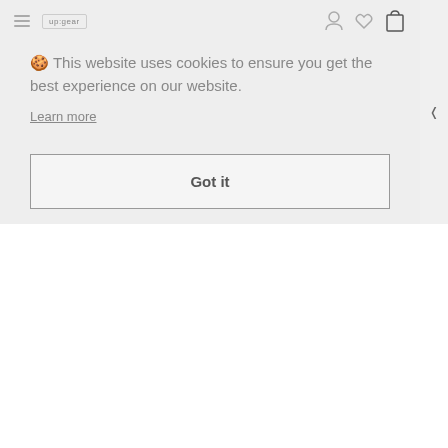Navigation bar with hamburger menu, logo (up:gear), user icon, heart/wishlist icon, and shopping bag icon
🍪 This website uses cookies to ensure you get the best experience on our website.
Learn more
Got it